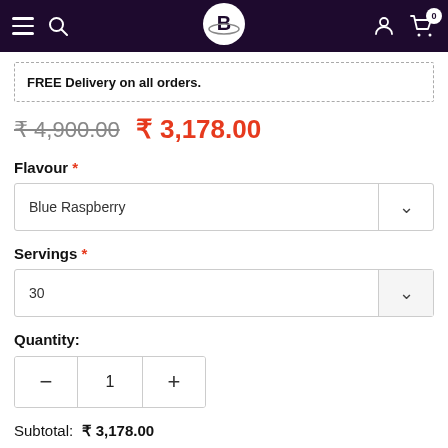B (logo) — navigation header with hamburger menu, search, logo, user account, cart (0)
FREE Delivery on all orders.
₹ 4,900.00  ₹ 3,178.00
Flavour *
Blue Raspberry
Servings *
30
Quantity:
1
Subtotal:  ₹ 3,178.00